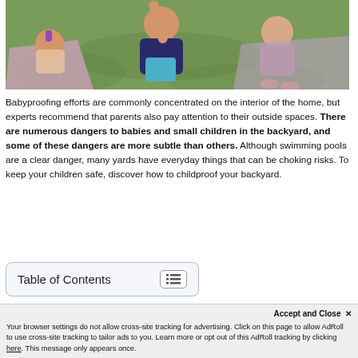[Figure (photo): Children playing outdoors on grass, one child in a dark shirt leaning forward, others sitting on a blanket with bare feet visible]
Babyproofing efforts are commonly concentrated on the interior of the home, but experts recommend that parents also pay attention to their outside spaces. There are numerous dangers to babies and small children in the backyard, and some of these dangers are more subtle than others. Although swimming pools are a clear danger, many yards have everyday things that can be choking risks. To keep your children safe, discover how to childproof your backyard.
Table of Contents
Best Way to Childproof Y…
Your browser settings do not allow cross-site tracking for advertising. Click on this page to allow AdRoll to use cross-site tracking to tailor ads to you. Learn more or opt out of this AdRoll tracking by clicking here. This message only appears once.